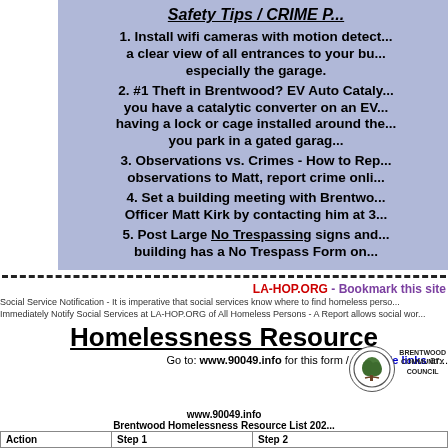Safety Tips / CRIME P...
1. Install wifi cameras with motion detect... a clear view of all entrances to your bu... especially the garage.
2. #1 Theft in Brentwood? EV Auto Cataly... you have a catalytic converter on an EV... having a lock or cage installed around the... you park in a gated garag...
3. Observations vs. Crimes - How to Rep... observations to Matt, report crime onli...
4. Set a building meeting with Brentwo... Officer Matt Kirk by contacting him at 3...
5. Post Large No Trespassing signs and... building has a No Trespass Form on...
LA-HOP.ORG - Bookmark this site
Social Service Notification - It is imperative that social services know where to find homeless perso... Immediately Notify Social Services at LA-HOP.ORG of All Homeless Persons - A Report allows social wor...
Homelessness Resource
Go to: www.90049.info for this form / clickable links ar...
[Figure (logo): Brentwood Community Council circular logo with tree]
www.90049.info
Brentwood Homelessness Resource List 202...
| Action | Step 1 | Step 2 |
| --- | --- | --- |